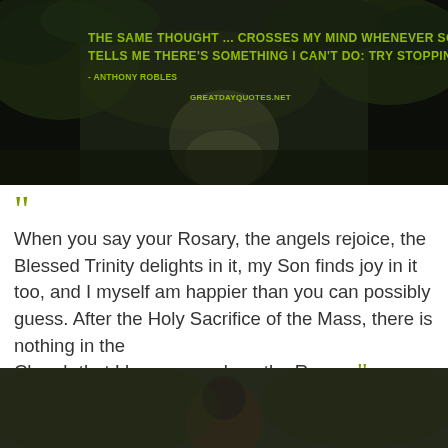[Figure (photo): Dark forest pathway background image with yellow-green motivational quote text overlay. Quote reads: 'THE SAME THOUGHT ... CROSSES MY MIND WHENEVER SOMEONE TELLS ME THERE'S SOMETHING I CAN'T DO: TRY STOPPING ME.' attributed to ANTHONY ROBLES, with website tag GREATDAYQUOTES.NET]
“When you say your Rosary, the angels rejoice, the Blessed Trinity delights in it, my Son finds joy in it too, and I myself am happier than you can possibly guess. After the Holy Sacrifice of the Mass, there is nothing in the Church that I love as much as the Rosary.” — Alanus De Rupe
[Figure (photo): Partial bottom image showing a person or figure, dark background with green/dark tones, cropped at bottom of page.]